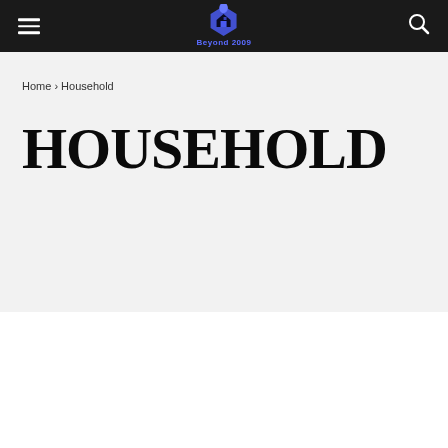Beyond 2009
Home › Household
HOUSEHOLD